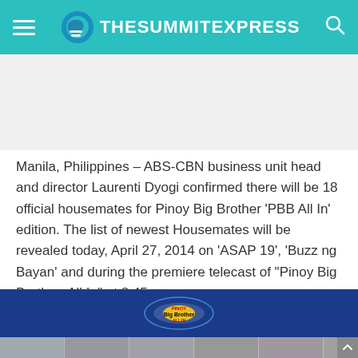TheSummitExpress
Manila, Philippines – ABS-CBN business unit head and director Laurenti Dyogi confirmed there will be 18 official housemates for Pinoy Big Brother 'PBB All In' edition. The list of newest Housemates will be revealed today, April 27, 2014 on 'ASAP 19', 'Buzz ng Bayan' and during the premiere telecast of "Pinoy Big Brother: All In" at 8:45 p.m.
[Figure (photo): Pinoy Big Brother All In banner with logo and row of housemate photos below]